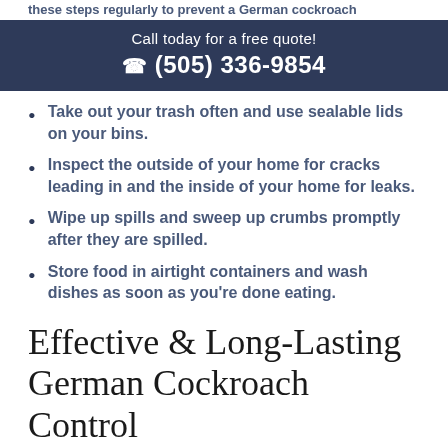these steps regularly to prevent a German cockroach infestation.
Call today for a free quote!
☎ (505) 336-9854
Take out your trash often and use sealable lids on your bins.
Inspect the outside of your home for cracks leading in and the inside of your home for leaks.
Wipe up spills and sweep up crumbs promptly after they are spilled.
Store food in airtight containers and wash dishes as soon as you're done eating.
Effective & Long-Lasting German Cockroach Control
Roaches prefer to stay hidden, so seeing them out during the day is a sign of a large infestation. As soon as you